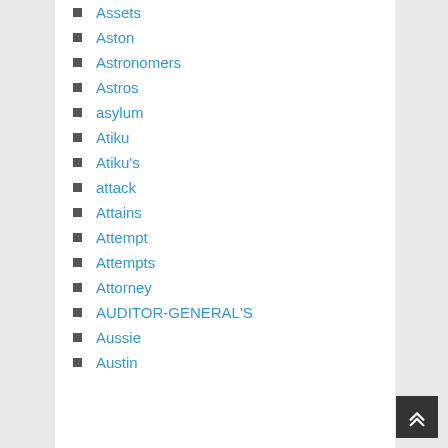Assets
Aston
Astronomers
Astros
asylum
Atiku
Atiku's
attack
Attains
Attempt
Attempts
Attorney
AUDITOR-GENERAL'S
Aussie
Austin